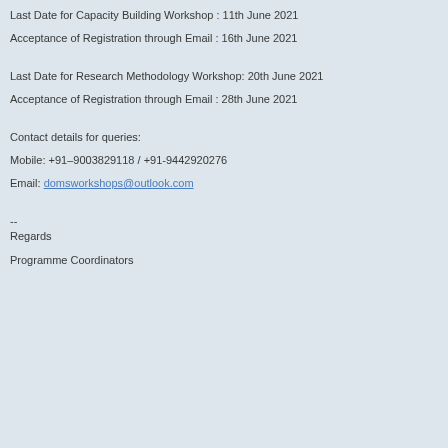Last Date for Capacity Building Workshop : 11th June 2021
Acceptance of Registration through Email : 16th June 2021
Last Date for Research Methodology Workshop: 20th June 2021
Acceptance of Registration through Email : 28th June 2021
Contact details for queries:
Mobile: +91–9003829118 / +91-9442920276
Email: domsworkshops@outlook.com
--
Regards
Programme Coordinators